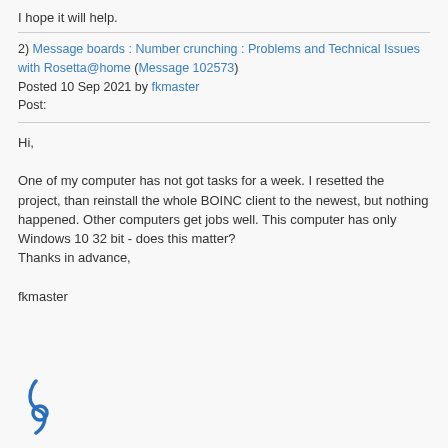I hope it will help.
2) Message boards : Number crunching : Problems and Technical Issues with Rosetta@home (Message 102573)
Posted 10 Sep 2021 by fkmaster
Post:
Hi,

One of my computer has not got tasks for a week. I resetted the project, than reinstall the whole BOINC client to the newest, but nothing happened. Other computers get jobs well. This computer has only Windows 10 32 bit - does this matter?
Thanks in advance,

fkmaster
[Figure (logo): Blue stylized logo/icon at bottom left, partially visible]